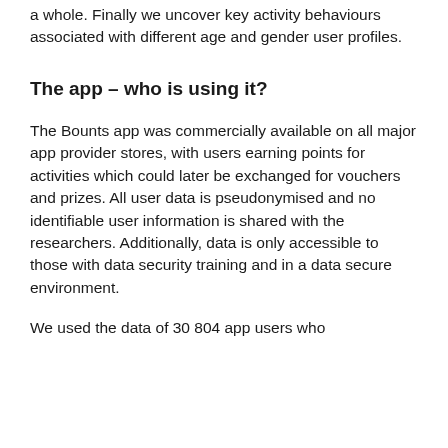a whole. Finally we uncover key activity behaviours associated with different age and gender user profiles.
The app – who is using it?
The Bounts app was commercially available on all major app provider stores, with users earning points for activities which could later be exchanged for vouchers and prizes. All user data is pseudonymised and no identifiable user information is shared with the researchers. Additionally, data is only accessible to those with data security training and in a data secure environment.
We used the data of 30 804 app users who